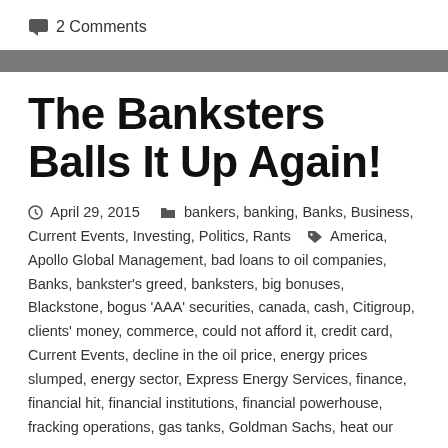2 Comments
The Banksters Balls It Up Again!
April 29, 2015   bankers, banking, Banks, Business, Current Events, Investing, Politics, Rants   America, Apollo Global Management, bad loans to oil companies, Banks, bankster's greed, banksters, big bonuses, Blackstone, bogus 'AAA' securities, canada, cash, Citigroup, clients' money, commerce, could not afford it, credit card, Current Events, decline in the oil price, energy prices slumped, energy sector, Express Energy Services, finance, financial hit, financial institutions, financial powerhouse, fracking operations, gas tanks, Goldman Sachs, heat our